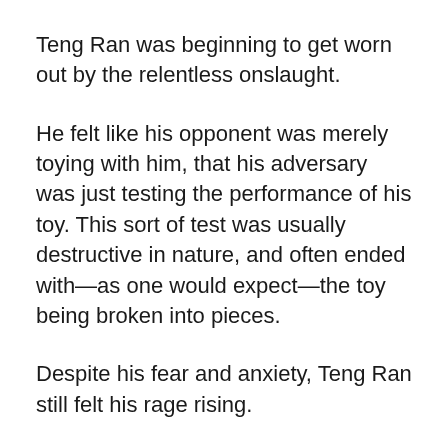Teng Ran was beginning to get worn out by the relentless onslaught.
He felt like his opponent was merely toying with him, that his adversary was just testing the performance of his toy. This sort of test was usually destructive in nature, and often ended with—as one would expect—the toy being broken into pieces.
Despite his fear and anxiety, Teng Ran still felt his rage rising.
“This guy is either at True G.o.d Limit or a Heavenly G.o.d. And he’s pretending to be a Virtual G.o.d so he won’t be rejected by the will of the gravel world! This is so